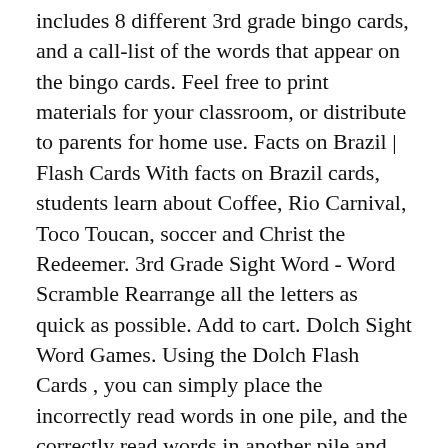includes 8 different 3rd grade bingo cards, and a call-list of the words that appear on the bingo cards. Feel free to print materials for your classroom, or distribute to parents for home use. Facts on Brazil | Flash Cards With facts on Brazil cards, students learn about Coffee, Rio Carnival, Toco Toucan, soccer and Christ the Redeemer. 3rd Grade Sight Word - Word Scramble Rearrange all the letters as quick as possible. Add to cart. Dolch Sight Word Games. Using the Dolch Flash Cards , you can simply place the incorrectly read words in one pile, and the correctly read words in another pile and complete the checklist from the two stacks. Make two copies of ‘read the word’ or ‘rainbow write the word’ for all sorts of additional fun Sight Word Games, such as ‘War’, ‘Memory’, ‘Bingo’, etc. A fun way to reinforce sight words lessons! Printable sight words word search activities for Pre-Primer, Primer, 1st, 2nd, and 3rd Grade Dolch sight words. 1st Grade